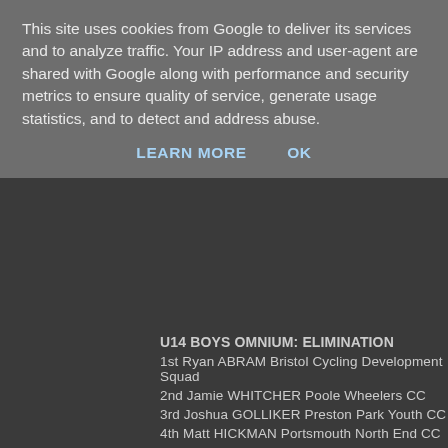This site uses cookies from Google to deliver its services and to analyze traffic. Your IP address and user-agent are shared with Google along with performance and security metrics to ensure quality of service, generate usage statistics, and to detect and address abuse.
LEARN MORE    OK
U14 BOYS OMNIUM: ELIMINATION
1st Ryan ABRAM Bristol Cycling Development Squad
2nd Jamie WHITCHER Poole Wheelers CC
3rd Joshua GOLLIKER Preston Park Youth CC
4th Matt HICKMAN Portsmouth North End CC
5th Jacob SCHNABEL Fareham Wheelers Cycling Club
U14 BOYS OMNIUM: MILE
1st Ryan ABRAM Bristol Cycling Development Squad
2nd Jamie WHITCHER Poole Wheelers CC
3rd Joshua GOLLIKER Preston Park Youth CC
4th Matt HICKMAN Portsmouth North End CC
5th Jacob SCHNABEL Fareham Wheelers Cycling Club
U14 BOYS OMNIUM: SPRINT
1st Ryan ABRAM Bristol Cycling Development Squad
2nd Matt HICKMAN Portsmouth North End CC
3rd Jacob SCHNABEL Fareham Wheelers Cycling Club
U14 BOYS OMNIUM: SCRATCH